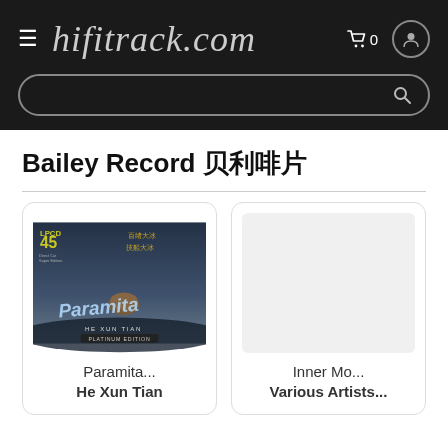hifitrack.com
Bailey Record 贝利唱片
[Figure (photo): Album cover for Paramita by He Xun Tian, LPCD 45 Platinum Edition, showing a dark atmospheric image with text]
Paramita...
He Xun Tian
[Figure (illustration): Blank/placeholder album art for Inner Mo... by Various Artists...]
Inner Mo...
Various Artists...